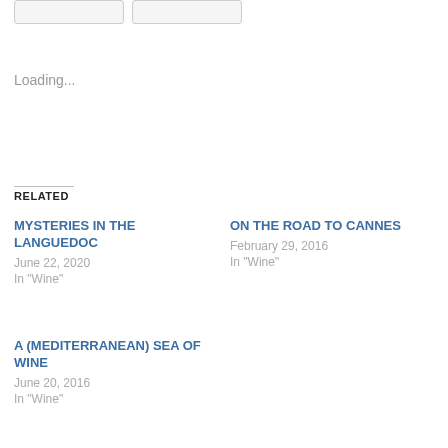Loading...
RELATED
MYSTERIES IN THE LANGUEDOC
June 22, 2020
In "Wine"
ON THE ROAD TO CANNES
February 29, 2016
In "Wine"
A (MEDITERRANEAN) SEA OF WINE
June 20, 2016
In "Wine"